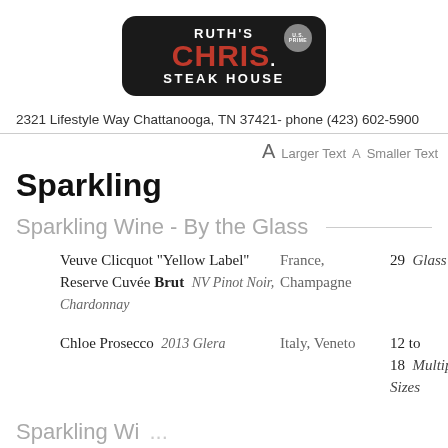[Figure (logo): Ruth's Chris Steak House logo — black rounded rectangle with white 'RUTH'S', red 'CHRIS.' and white 'STEAK HOUSE' text, and a U.S. Prime circular badge.]
2321 Lifestyle Way Chattanooga, TN 37421- phone (423) 602-5900
A  Larger Text   A   Smaller Text
Sparkling
Sparkling Wine - By the Glass
Veuve Clicquot "Yellow Label" Reserve Cuvée Brut   NV Pinot Noir, Chardonnay   France, Champagne   29  Glass
Chloe Prosecco   2013 Glera   Italy, Veneto   12 to 18  Multiple Sizes
Sparkling Wi...